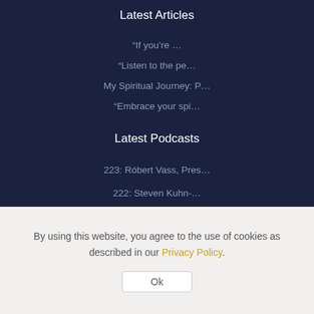Latest Articles
“If you’re …
“Listen to the pe…
My Spiritual Journey: P…
“Embrace your spi…
Latest Podcasts
223: Róbert Vass, Pres…
222: Steven Kuhn-…
By using this website, you agree to the use of cookies as described in our Privacy Policy.
Ok